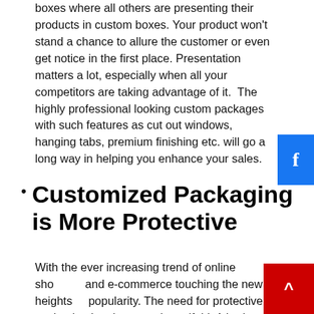boxes where all others are presenting their products in custom boxes. Your product won't stand a chance to allure the customer or even get notice in the first place. Presentation matters a lot, especially when all your competitors are taking advantage of it.  The highly professional looking custom packages with such features as cut out windows, hanging tabs, premium finishing etc. will go a long way in helping you enhance your sales.
Customized Packaging is More Protective
With the ever increasing trend of online shopping and e-commerce touching the new heights of popularity. The need for protective packaging has increased manifold. A broken or damaged product